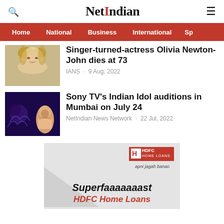NetIndian
Home · National · Business · International · Sp
Singer-turned-actress Olivia Newton-John dies at 73
IANS · 9 Aug, 2022
[Figure (photo): Photo of Olivia Newton-John, a blonde woman smiling]
Sony TV's Indian Idol auditions in Mumbai on July 24
NetIndian News Network · 22 Jul, 2022
[Figure (photo): Indian Idol performer on stage with decorative background]
[Figure (other): HDFC Home Loans advertisement - Superfaaaaaaast HDFC Home Loans, apni jagah banao]